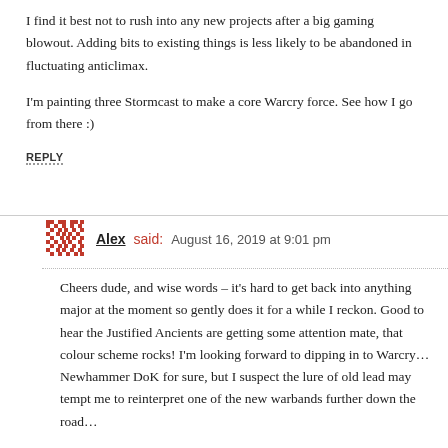I find it best not to rush into any new projects after a big gaming blowout. Adding bits to existing things is less likely to be abandoned in fluctuating anticlimax.
I'm painting three Stormcast to make a core Warcry force. See how I go from there :)
REPLY
Alex said: August 16, 2019 at 9:01 pm
Cheers dude, and wise words – it's hard to get back into anything major at the moment so gently does it for a while I reckon. Good to hear the Justified Ancients are getting some attention mate, that colour scheme rocks! I'm looking forward to dipping in to Warcry… Newhammer DoK for sure, but I suspect the lure of old lead may tempt me to reinterpret one of the new warbands further down the road…